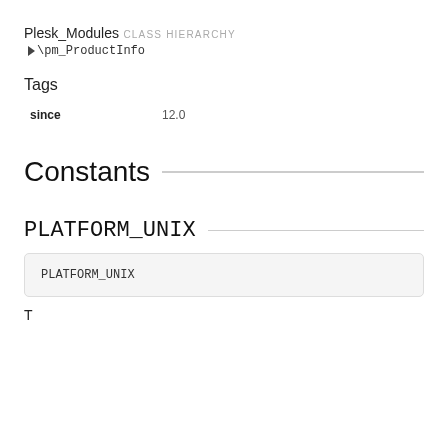Plesk_Modules
CLASS HIERARCHY
▶ \pm_ProductInfo
Tags
| since | 12.0 |
| --- | --- |
Constants
PLATFORM_UNIX
PLATFORM_UNIX
T